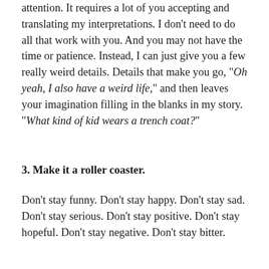attention. It requires a lot of you accepting and translating my interpretations. I don't need to do all that work with you. And you may not have the time or patience. Instead, I can just give you a few really weird details. Details that make you go, "Oh yeah, I also have a weird life," and then leaves your imagination filling in the blanks in my story. "What kind of kid wears a trench coat?"
3. Make it a roller coaster.
Don't stay funny. Don't stay happy. Don't stay sad. Don't stay serious. Don't stay positive. Don't stay hopeful. Don't stay negative. Don't stay bitter.